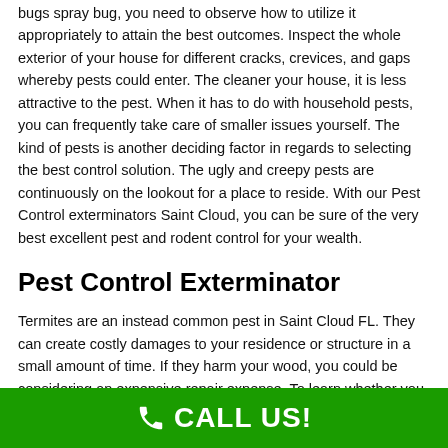bugs spray bug, you need to observe how to utilize it appropriately to attain the best outcomes. Inspect the whole exterior of your house for different cracks, crevices, and gaps whereby pests could enter. The cleaner your house, it is less attractive to the pest. When it has to do with household pests, you can frequently take care of smaller issues yourself. The kind of pests is another deciding factor in regards to selecting the best control solution. The ugly and creepy pests are continuously on the lookout for a place to reside. With our Pest Control exterminators Saint Cloud, you can be sure of the very best excellent pest and rodent control for your wealth.
Pest Control Exterminator
Termites are an instead common pest in Saint Cloud FL. They can create costly damages to your residence or structure in a small amount of time. If they harm your wood, you could be considering an expensive repair expense. To learn whether you have termites, look out for winged termites buzzing around or small mud shelter tubes at the end of the wall surfaces. Despite what pests are positioning your satisfaction in danger, our professionals have the
CALL US!